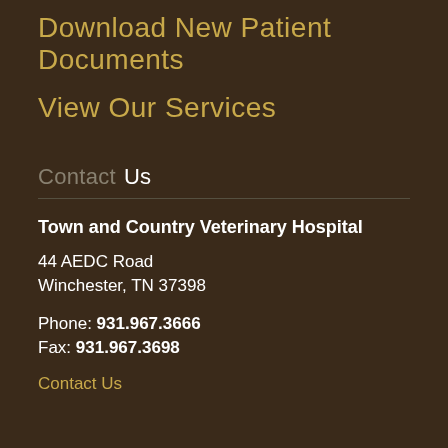Download New Patient Documents
View Our Services
Contact Us
Town and Country Veterinary Hospital
44 AEDC Road
Winchester, TN 37398
Phone: 931.967.3666
Fax: 931.967.3698
Contact Us